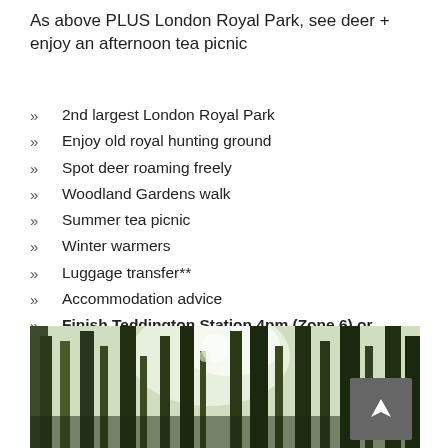As above PLUS London Royal Park, see deer + enjoy an afternoon tea picnic
2nd largest London Royal Park
Enjoy old royal hunting ground
Spot deer roaming freely
Woodland Gardens walk
Summer tea picnic
Winter warmers
Luggage transfer**
Accommodation advice
Finish Teddington Station 4pm (Zone 6) or Hampton Court hotel
[Figure (photo): Woodland/forest scene with trees and dappled light]